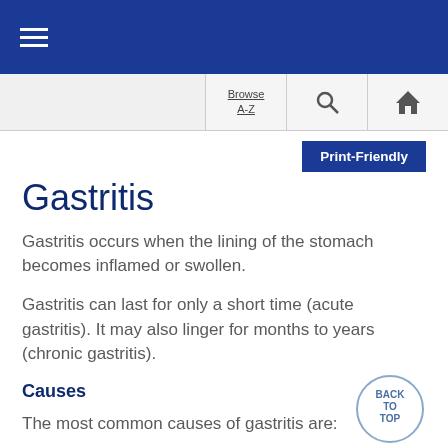≡ (hamburger menu)
Browse A-Z | Search | Home
Print-Friendly
Gastritis
Gastritis occurs when the lining of the stomach becomes inflamed or swollen.
Gastritis can last for only a short time (acute gastritis). It may also linger for months to years (chronic gastritis).
Causes
The most common causes of gastritis are: